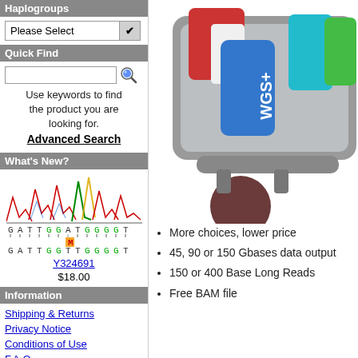Haplogroups
[Figure (screenshot): Dropdown select box labeled 'Please Select' with arrow]
Quick Find
[Figure (screenshot): Search input box with magnifying glass icon]
Use keywords to find the product you are looking for.
Advanced Search
What's New?
[Figure (illustration): DNA sequencing chromatogram with colored peaks, sequence GATTGGATGGGGT aligned over GATTGGTTGGGGT with M mismatch marker]
Y324691
$18.00
Information
Shipping & Returns
Privacy Notice
Conditions of Use
F.A.Q.
Contact Us
[Figure (illustration): Shopping cart illustration with WGS+ labeled blue USB drive and colorful cards/folders inside cart, with brown circle wheel]
More choices, lower price
45, 90 or 150 Gbases data output
150 or 400 Base Long Reads
Free BAM file